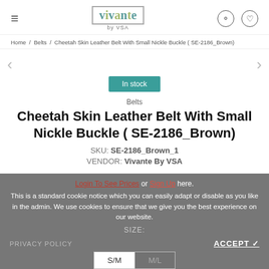vivante by VSA
Home / Belts / Cheetah Skin Leather Belt With Small Nickle Buckle ( SE-2186_Brown)
In stock
Belts
Cheetah Skin Leather Belt With Small Nickle Buckle ( SE-2186_Brown)
SKU: SE-2186_Brown_1
VENDOR: Vivante By VSA
Login To See Prices or Sign Up here.
This is a standard cookie notice which you can easily adapt or disable as you like in the admin. We use cookies to ensure that we give you the best experience on our website.
SIZE:
PRIVACY POLICY   ACCEPT ✓
S/M   M/L